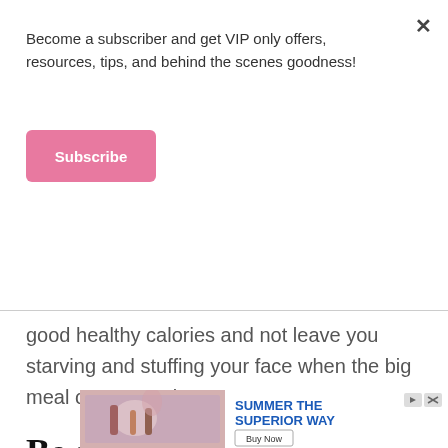Become a subscriber and get VIP only offers, resources, tips, and behind the scenes goodness!
Subscribe
good healthy calories and not leave you starving and stuffing your face when the big meal or party arrives.
Be aware of liquid calories.
Liquid calories can be a killer that people don't
[Figure (screenshot): Advertisement banner with image of person at table with drinks on the left, and text 'SUMMER THE SUPERIOR WAY' with a 'Buy Now' button on the right.]